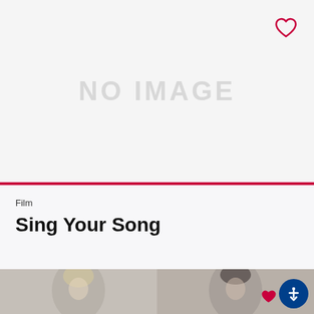[Figure (other): No image placeholder area with light gray background and 'NO IMAGE' text in large gray letters]
[Figure (illustration): Heart icon outline in red/crimson color in top right corner]
Film
Sing Your Song
[Figure (photo): Two portrait photos side by side at the bottom: left shows a person with blonde hair, right shows a person with dark hair]
[Figure (illustration): Small red heart icon and blue circular accessibility button in bottom right corner]